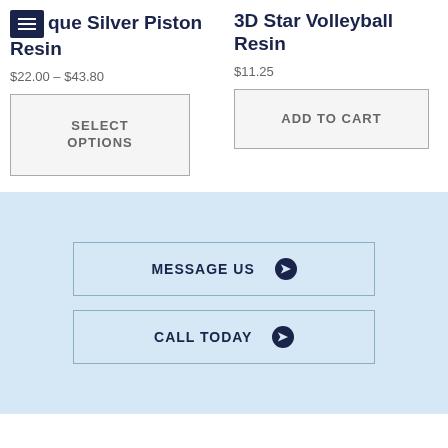que Silver Piston Resin
3D Star Volleyball Resin
$22.00 – $43.80
$11.25
SELECT OPTIONS
ADD TO CART
MESSAGE US
CALL TODAY